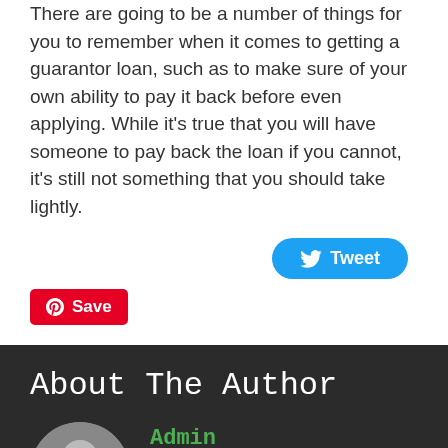There are going to be a number of things for you to remember when it comes to getting a guarantor loan, such as to make sure of your own ability to pay it back before even applying. While it's true that you will have someone to pay back the loan if you cannot, it's still not something that you should take lightly.
[Figure (screenshot): Tweet button (blue rounded rectangle with Twitter bird icon)]
[Figure (screenshot): Save button (red rectangle with Pinterest icon)]
About The Author
Admin
[Figure (illustration): Generic user avatar circle with silhouette]